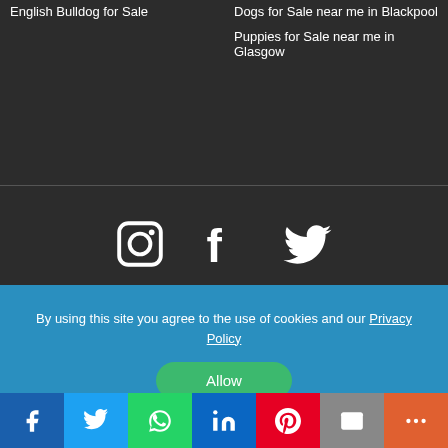English Bulldog for Sale
Dogs for Sale near me in Blackpool
Puppies for Sale near me in Glasgow
[Figure (other): Social media icons: Instagram, Facebook, Twitter]
Terms and Conditions   Privacy Policy
Puppies For Sale Near Me
By using this site you agree to the use of cookies and our Privacy Policy
[Figure (other): Allow button (green rounded)]
[Figure (other): Social share bar: Facebook, Twitter, WhatsApp, LinkedIn, Pinterest, Email, More]